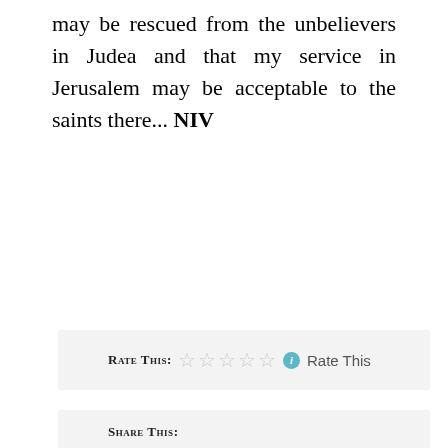may be rescued from the unbelievers in Judea and that my service in Jerusalem may be acceptable to the saints there… NIV
Rate This: ☆☆☆☆☆ ⓘ Rate This
Share This:
WhatsApp   Pocket   Pinterest